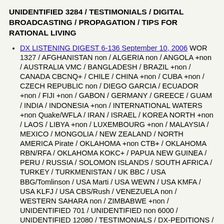UNIDENTIFIED 3284 / TESTIMONIALS / DIGITAL BROADCASTING / PROPAGATION / TIPS FOR RATIONAL LIVING
DX LISTENING DIGEST 6-136 September 10, 2006 WOR 1327 / AFGHANISTAN non / ALGERIA non / ANGOLA +non / AUSTRALIA VMC / BANGLADESH / BRAZIL +non / CANADA CBCNQ+ / CHILE / CHINA +non / CUBA +non / CZECH REPUBLIC non / DIEGO GARCIA / ECUADOR +non / FIJI +non / GABON / GERMANY / GREECE / GUAM / INDIA / INDONESIA +non / INTERNATIONAL WATERS +non Quake/WFLA / IRAN / ISRAEL / KOREA NORTH +non / LAOS / LIBYA +non / LUXEMBOURG +non / MALAYSIA / MEXICO / MONGOLIA / NEW ZEALAND / NORTH AMERICA Pirate / OKLAHOMA +non CTB+ / OKLAHOMA RBN/RFA / OKLAHOMA KOKC+ / PAPUA NEW GUINEA / PERU / RUSSIA / SOLOMON ISLANDS / SOUTH AFRICA / TURKEY / TURKMENISTAN / UK BBC / USA BBG/Tomlinson / USA Marti / USA WEWN / USA KMFA / USA KLFJ / USA CBS/Rush / VENEZUELA non / WESTERN SAHARA non / ZIMBABWE +non / UNIDENTIFIED 701 / UNIDENTIFIED non 6000 / UNIDENTIFIED 12080 / TESTIMONIALS / DX-PEDITIONS / CONVENTIONS & CONFERENCES / PROPAGATION
DX LISTENING DIGEST 6-135 September 7, 2006 WOR